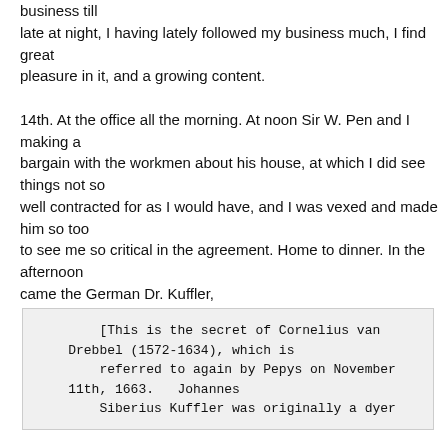business till late at night, I having lately followed my business much, I find great pleasure in it, and a growing content.

14th. At the office all the morning. At noon Sir W. Pen and I making a bargain with the workmen about his house, at which I did see things not so well contracted for as I would have, and I was vexed and made him so too to see me so critical in the agreement. Home to dinner. In the afternoon came the German Dr. Kuffler,
[This is the secret of Cornelius van Drebbel (1572-1634), which is referred to again by Pepys on November 11th, 1663.  Johannes Siberius Kuffler was originally a dyer